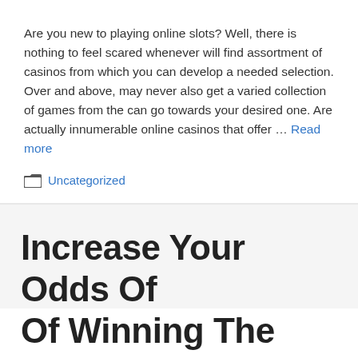Are you new to playing online slots? Well, there is nothing to feel scared whenever will find assortment of casinos from which you can develop a needed selection. Over and above, may never also get a varied collection of games from the can go towards your desired one. Are actually innumerable online casinos that offer … Read more
Categories: Uncategorized
Increase Your Odds Of Of Winning The